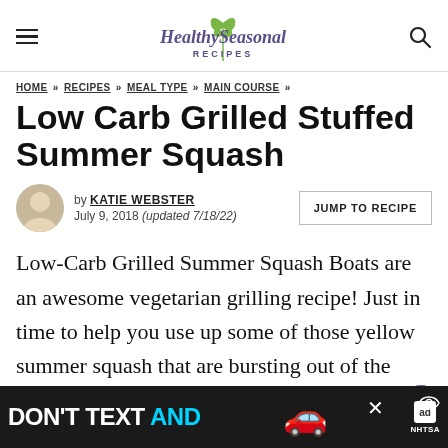Healthy Seasonal Recipes
HOME » RECIPES » MEAL TYPE » MAIN COURSE »
Low Carb Grilled Stuffed Summer Squash
by KATIE WEBSTER
July 9, 2018 (updated 7/18/22)
JUMP TO RECIPE
Low-Carb Grilled Summer Squash Boats are an awesome vegetarian grilling recipe! Just in time to help you use up some of those yellow summer squash that are bursting out of the garden right now.
[Figure (other): Advertisement banner: DON'T TEXT AND [car emoji] with NHTSA ad logo]